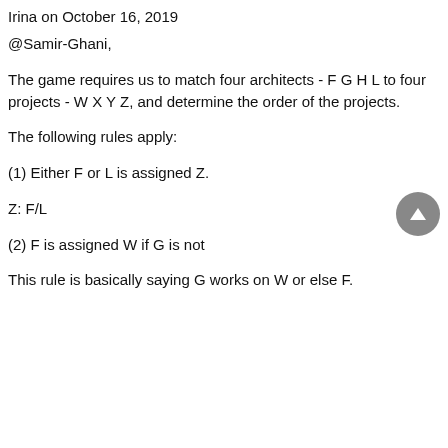Irina on October 16, 2019
@Samir-Ghani,
The game requires us to match four architects - F G H L to four projects - W X Y Z, and determine the order of the projects.
The following rules apply:
(1) Either F or L is assigned Z.
Z: F/L
(2) F is assigned W if G is not
This rule is basically saying G works on W or else F.